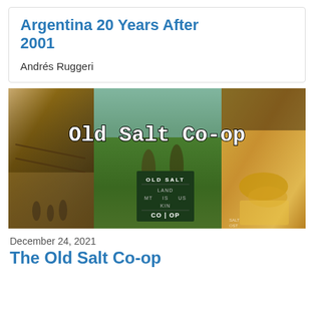Argentina 20 Years After 2001
Andrés Ruggeri
[Figure (photo): Photo collage of Old Salt Co-op with three panels: left panel showing cattle/ranch workers in dusty setting, center panel showing two people in a field holding an Old Salt Co-op sign (dark green sign reading OLD SALT, LAND, MT IS US, KIN, CO|OP), right panel showing food/items. Overlay text reads 'Old Salt Co-op' in large monospaced font with white stroke.]
December 24, 2021
The Old Salt Co-op